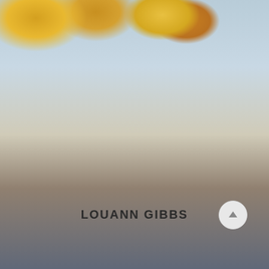[Figure (photo): Professional headshot of Louann Gibbs, a woman with short gray hair and glasses, wearing a dark cardigan over a patterned blouse with a cross necklace, photographed outdoors with autumn foliage in the background.]
LOUANN GIBBS
Real Estate
View More